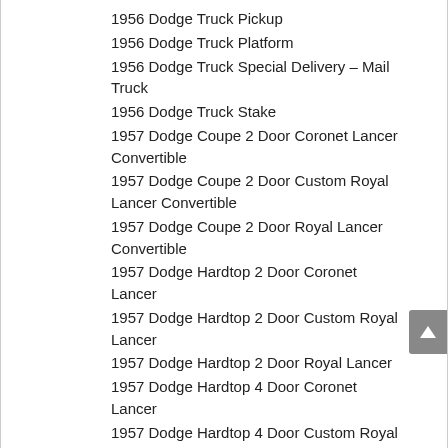1956 Dodge Truck Pickup
1956 Dodge Truck Platform
1956 Dodge Truck Special Delivery – Mail Truck
1956 Dodge Truck Stake
1957 Dodge Coupe 2 Door Coronet Lancer Convertible
1957 Dodge Coupe 2 Door Custom Royal Lancer Convertible
1957 Dodge Coupe 2 Door Royal Lancer Convertible
1957 Dodge Hardtop 2 Door Coronet Lancer
1957 Dodge Hardtop 2 Door Custom Royal Lancer
1957 Dodge Hardtop 2 Door Royal Lancer
1957 Dodge Hardtop 4 Door Coronet Lancer
1957 Dodge Hardtop 4 Door Custom Royal Lancer
1957 Dodge Hardtop 4 Door Royal Lancer
1957 Dodge Sedan 2 Door Club Coronet
1957 Dodge Sedan 4 Door Coronet
1957 Dodge Sedan 4 Door Custom Royal
1957 Dodge Sedan 4 Door Royal
1957 Dodge Station Wagon 2 Door Suburban